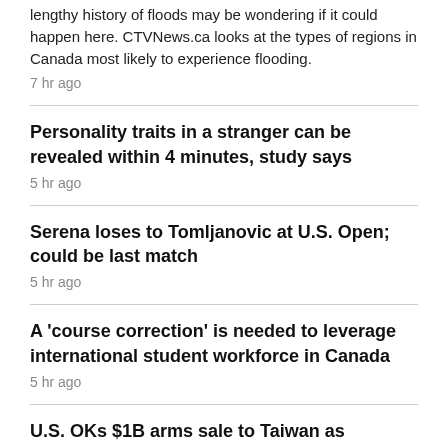lengthy history of floods may be wondering if it could happen here. CTVNews.ca looks at the types of regions in Canada most likely to experience flooding.
7 hr ago
Personality traits in a stranger can be revealed within 4 minutes, study says
5 hr ago
Serena loses to Tomljanovic at U.S. Open; could be last match
5 hr ago
A 'course correction' is needed to leverage international student workforce in Canada
5 hr ago
U.S. OKs $1B arms sale to Taiwan as tensions